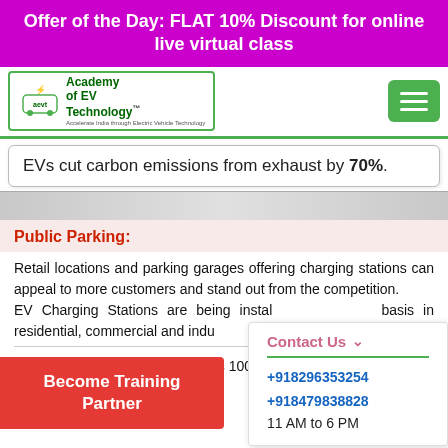Offer of the Day: FLAT 10% Discount for online live virtual class
[Figure (logo): Academy of EV Technology logo with green car icon and lightning bolt]
EVs cut carbon emissions from exhaust by 70%.
Public Parking:
Retail locations and parking garages offering charging stations can appeal to more customers and stand out from the competition. EV Charging Stations are being installed on a rapid basis in residential, commercial and industrial locations.
Contact Us
+918296353254
+918479838828
11 AM to 6 PM
A Battery Electric Vehicle (BEV) is 100% powered by electricity
Become Training Partner